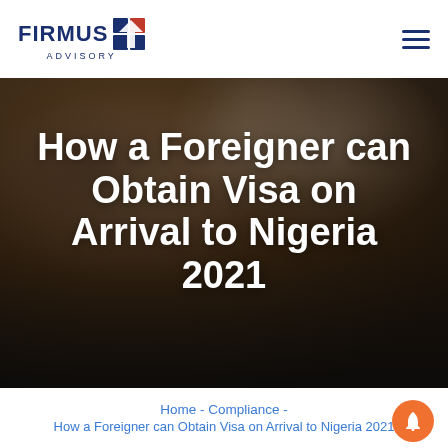FIRMUS ADVISORY
[Figure (photo): Photo of three men sitting at a table at what appears to be a business or diplomatic meeting, with the article title overlaid in white bold text on a dark overlay.]
How a Foreigner can Obtain Visa on Arrival to Nigeria 2021
Home - Compliance - How a Foreigner can Obtain Visa on Arrival to Nigeria 2021